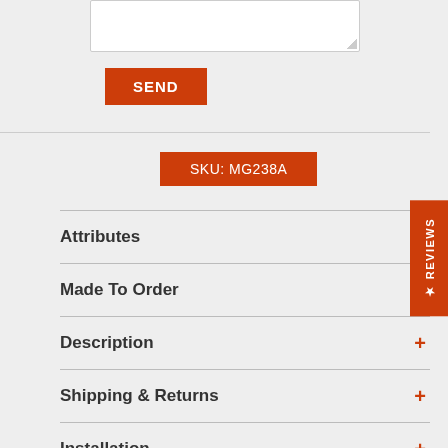[Figure (screenshot): White textarea input box with resize handle]
SEND
SKU: MG238A
Attributes +
Made To Order +
Description +
Shipping & Returns +
Installation +
Certificate of Authenticity +
★ REVIEWS